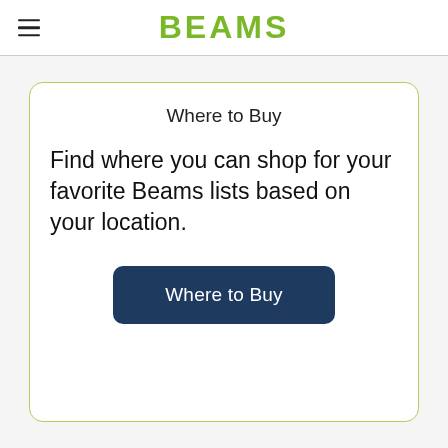≡  BEAMS
Where to Buy
Find where you can shop for your favorite Beams lists based on your location.
Where to Buy